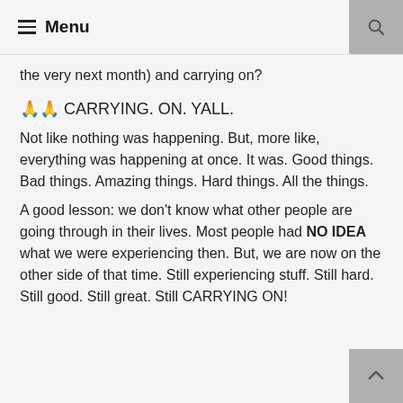☰ Menu
the very next month) and carrying on?
🙏🙏 CARRYING. ON. YALL.
Not like nothing was happening. But, more like, everything was happening at once. It was. Good things. Bad things. Amazing things. Hard things. All the things.
A good lesson: we don't know what other people are going through in their lives. Most people had NO IDEA what we were experiencing then. But, we are now on the other side of that time. Still experiencing stuff. Still hard. Still good. Still great. Still CARRYING ON!